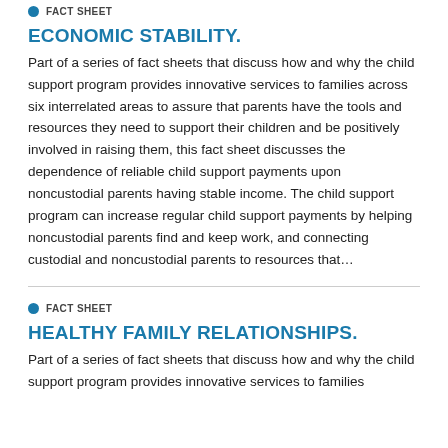FACT SHEET
ECONOMIC STABILITY.
Part of a series of fact sheets that discuss how and why the child support program provides innovative services to families across six interrelated areas to assure that parents have the tools and resources they need to support their children and be positively involved in raising them, this fact sheet discusses the dependence of reliable child support payments upon noncustodial parents having stable income. The child support program can increase regular child support payments by helping noncustodial parents find and keep work, and connecting custodial and noncustodial parents to resources that…
FACT SHEET
HEALTHY FAMILY RELATIONSHIPS.
Part of a series of fact sheets that discuss how and why the child support program provides innovative services to families